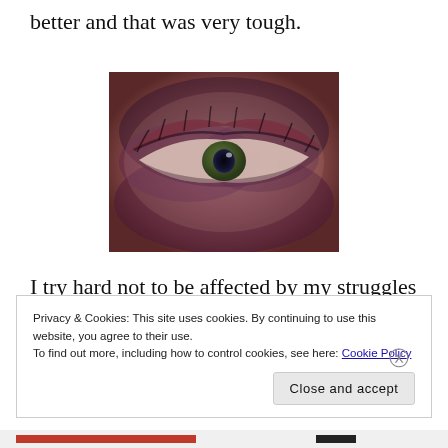better and that was very tough.
[Figure (photo): Close-up photograph of a human eye with significant bruising and dark discoloration around the eye area, showing eye pain or injury.]
I try hard not to be affected by my struggles with eye pain. I want to keep looking for something
Privacy & Cookies: This site uses cookies. By continuing to use this website, you agree to their use.
To find out more, including how to control cookies, see here: Cookie Policy
Close and accept